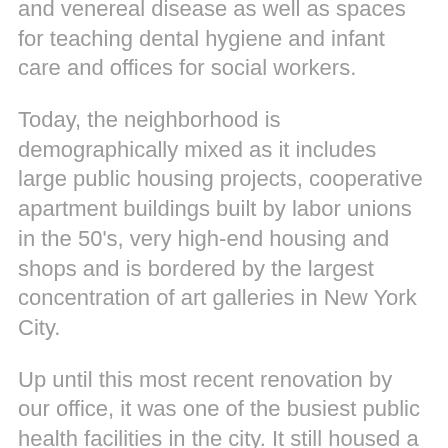and venereal disease as well as spaces for teaching dental hygiene and infant care and offices for social workers.
Today, the neighborhood is demographically mixed as it includes large public housing projects, cooperative apartment buildings built by labor unions in the 50's, very high-end housing and shops and is bordered by the largest concentration of art galleries in New York City.
Up until this most recent renovation by our office, it was one of the busiest public health facilities in the city. It still housed a wide variety of free clinics including general health, dental, chest, and immunization. It also housed an historic HIV/STD clinic which was heavily used by the local gay